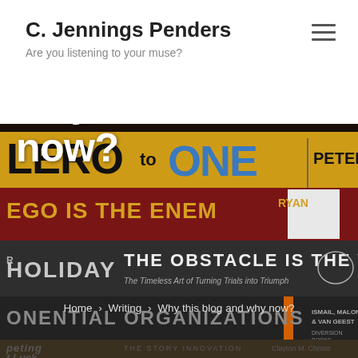C. Jennings Penders
Are you listening to your muse?
[Figure (photo): Stack of books including Zero to One by Peter Thiel, Ego is the Enemy by Ryan Holiday, The Obstacle is the Way, Exponential Organizations by Ismail Malone & van Geest (Diversion Books), and other titles]
Why this blog and why now?
Home › Writing › Why this blog and why now?